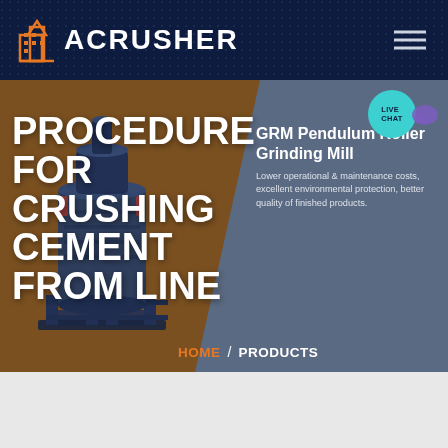ACRUSHER
PROCEDURE FOR CRUSHING CEMENT FROM LINE
GRM Pendulum Roller Grinding Mill
Lower operational & maintenance costs, excellent environmental protection, better quality of finished products.
HOME / PRODUCTS
[Figure (screenshot): Acrusher website screenshot showing navigation header with logo, hero banner with title 'Procedure for Crushing Cement from Line', a grinding mill machine image, and a Live Chat button]
LIVE CHAT